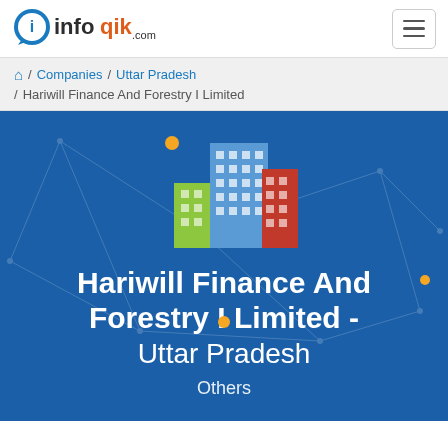infoqik.com
/ Companies / Uttar Pradesh / Hariwill Finance And Forestry I Limited
[Figure (illustration): Blue banner with network background, building icon (green, blue, red skyscrapers), company name 'Hariwill Finance And Forestry I Limited - Uttar Pradesh', and partially visible 'Others' label at bottom.]
Hariwill Finance And Forestry I Limited - Uttar Pradesh